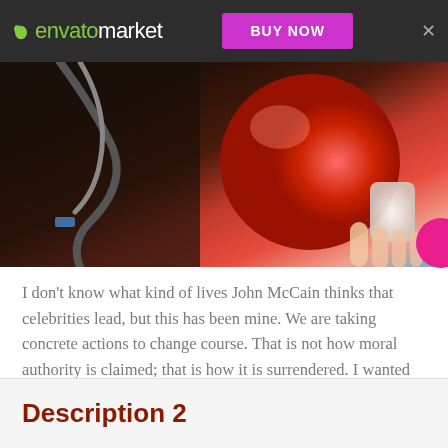envato market — BUY NOW
[Figure (photo): Close-up photo of a stethoscope and a red heart stress ball being held by a hand, on a dark background.]
I don't know what kind of lives John McCain thinks that celebrities lead, but this has been mine. We are taking concrete actions to change course. That is not how moral authority is claimed; that is how it is surrendered. I wanted to be part of something larger. Because the Iraq war is not just a security problem, it's a moral problem.
Description 2